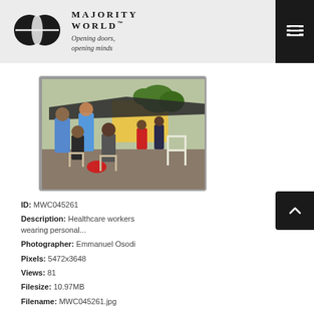Majority World™ — Opening doors, opening minds
[Figure (photo): Healthcare workers in blue PPE suits attending to people seated outdoors on chairs, under a canopy structure, with buildings and trees in the background.]
ID: MWC045261
Description: Healthcare workers wearing personal...
Photographer: Emmanuel Osodi
Pixels: 5472x3648
Views: 81
Filesize: 10.97MB
Filename: MWC045261.jpg